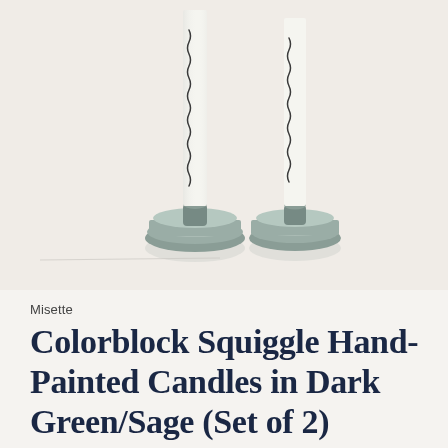[Figure (photo): Two white taper candles with dark green squiggle hand-painted pattern, each sitting in a small sage/dark green glass oval candleholder, photographed on a light beige/cream background.]
Misette
Colorblock Squiggle Hand-Painted Candles in Dark Green/Sage (Set of 2)